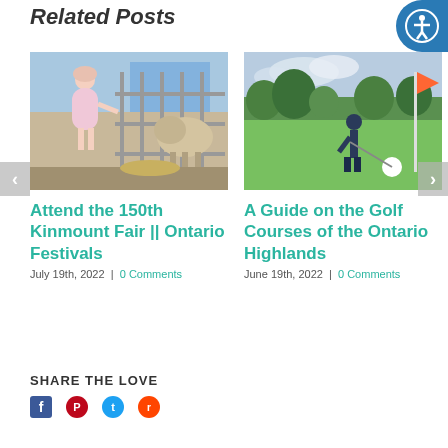Related Posts
[Figure (photo): Young girl in pink dress feeding animals at a fair through metal fence]
Attend the 150th Kinmount Fair || Ontario Festivals
July 19th, 2022  |  0 Comments
[Figure (photo): Golfer putting on a golf course green with flag pole visible]
A Guide on the Golf Courses of the Ontario Highlands
June 19th, 2022  |  0 Comments
SHARE THE LOVE
[Figure (infographic): Social share icons: Facebook, Pinterest, Twitter, Reddit]